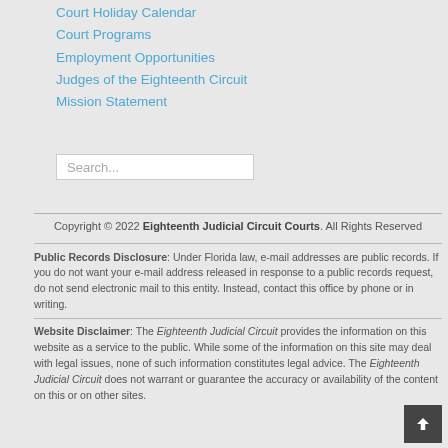Court Holiday Calendar
Court Programs
Employment Opportunities
Judges of the Eighteenth Circuit
Mission Statement
Search...
Copyright © 2022 Eighteenth Judicial Circuit Courts. All Rights Reserved
Public Records Disclosure: Under Florida law, e-mail addresses are public records. If you do not want your e-mail address released in response to a public records request, do not send electronic mail to this entity. Instead, contact this office by phone or in writing.
Website Disclaimer: The Eighteenth Judicial Circuit provides the information on this website as a service to the public. While some of the information on this site may deal with legal issues, none of such information constitutes legal advice. The Eighteenth Judicial Circuit does not warrant or guarantee the accuracy or availability of the content on this or on other sites.